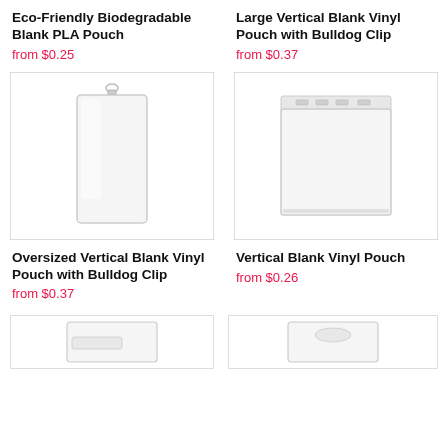Eco-Friendly Biodegradable Blank PLA Pouch
from $0.25
Large Vertical Blank Vinyl Pouch with Bulldog Clip
from $0.37
[Figure (photo): Oversized vertical blank vinyl pouch with bulldog clip, transparent, shown on white background]
[Figure (photo): Large vertical blank vinyl pouch with bulldog clip, transparent, shown on white background]
Oversized Vertical Blank Vinyl Pouch with Bulldog Clip
from $0.37
Vertical Blank Vinyl Pouch
from $0.26
[Figure (photo): Partial view of a vinyl pouch, visible at bottom of page]
[Figure (photo): Partial view of a vinyl pouch, visible at bottom of page]